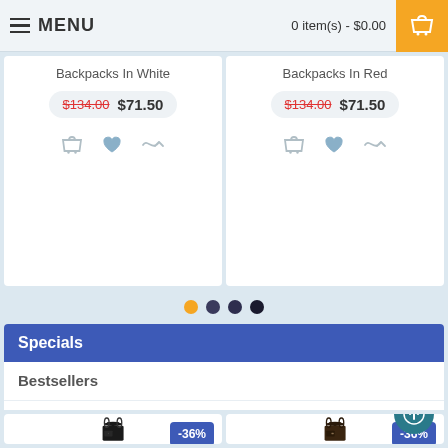MENU | 0 item(s) - $0.00
Backpacks In White
$134.00  $71.50
Backpacks In Red
$134.00  $71.50
Specials
Bestsellers
Featured
-36%
-36%